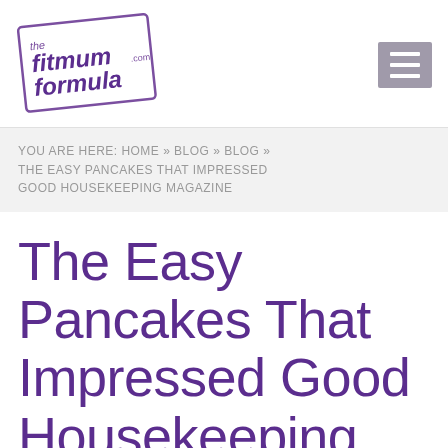the fitmum formula .com
YOU ARE HERE: HOME » BLOG » BLOG » THE EASY PANCAKES THAT IMPRESSED GOOD HOUSEKEEPING MAGAZINE
The Easy Pancakes That Impressed Good Housekeeping Magazine